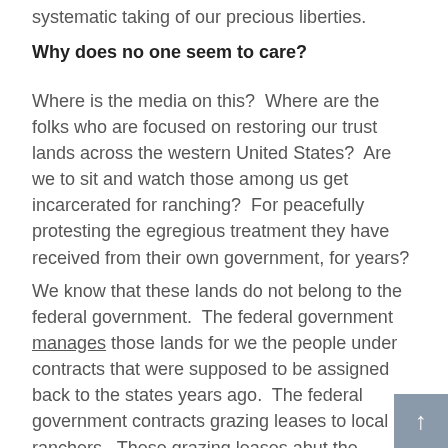systematic taking of our precious liberties.
Why does no one seem to care?
Where is the media on this?  Where are the folks who are focused on restoring our trust lands across the western United States?  Are we to sit and watch those among us get incarcerated for ranching?  For peacefully protesting the egregious treatment they have received from their own government, for years?
We know that these lands do not belong to the federal government.  The federal government manages those lands for we the people under contracts that were supposed to be assigned back to the states years ago.  The federal government contracts grazing leases to local ranchers.  These grazing leases abut the ranches owned by private citizens of the United